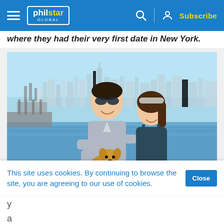philstar GLOBAL | Subscribe
where they had their very first date in New York.
[Figure (photo): A couple smiling by a waterfront with New York City skyline in the background. The man is wearing sunglasses and a grey shirt, holding a small chihuahua dog dressed in a pink outfit. The woman is wearing a grey headband and a dark blue dress. Behind them is a pier and blue water.]
This site uses cookies. By continuing to browse the site, you are agreeing to our use of cookies.
y
a
L